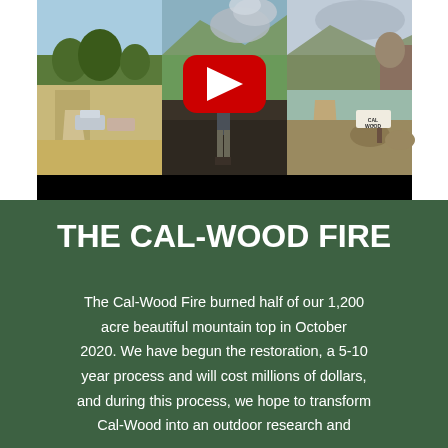[Figure (photo): Video thumbnail showing three side-by-side panels of the Cal-Wood fire area: left panel shows a dirt road with cars and dry grass, center panel shows a person standing in burned area with smoke/mountain in background and a YouTube play button overlay, right panel shows a trail through burned brush with a Cal-Wood sign.]
THE CAL-WOOD FIRE
The Cal-Wood Fire burned half of our 1,200 acre beautiful mountain top in October 2020. We have begun the restoration, a 5-10 year process and will cost millions of dollars, and during this process, we hope to transform Cal-Wood into an outdoor research and